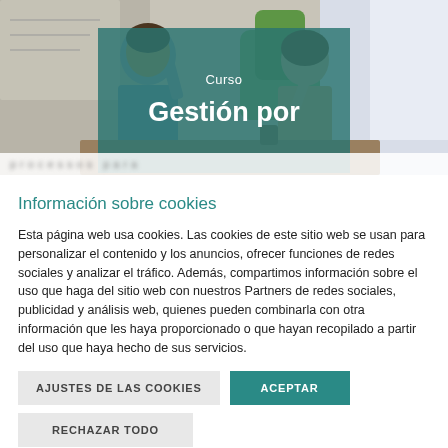[Figure (photo): Photo of two people in an office setting with a teal overlay box showing 'Curso' and 'Gestión por' text. The photo shows a man and woman appearing to collaborate, with plants and whiteboards in the background. The overlay has semi-transparent teal background.]
Información sobre cookies
Esta página web usa cookies. Las cookies de este sitio web se usan para personalizar el contenido y los anuncios, ofrecer funciones de redes sociales y analizar el tráfico. Además, compartimos información sobre el uso que haga del sitio web con nuestros Partners de redes sociales, publicidad y análisis web, quienes pueden combinarla con otra información que les haya proporcionado o que hayan recopilado a partir del uso que haya hecho de sus servicios.
AJUSTES DE LAS COOKIES
ACEPTAR
RECHAZAR TODO